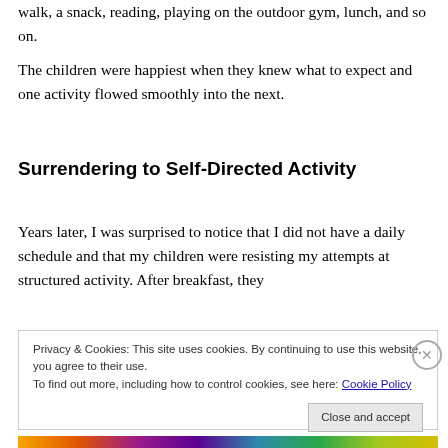walk, a snack, reading, playing on the outdoor gym, lunch, and so on.
The children were happiest when they knew what to expect and one activity flowed smoothly into the next.
Surrendering to Self-Directed Activity
Years later, I was surprised to notice that I did not have a daily schedule and that my children were resisting my attempts at structured activity. After breakfast, they
Privacy & Cookies: This site uses cookies. By continuing to use this website, you agree to their use.
To find out more, including how to control cookies, see here: Cookie Policy
[Figure (other): Colorful decorative bar at the bottom of the page]